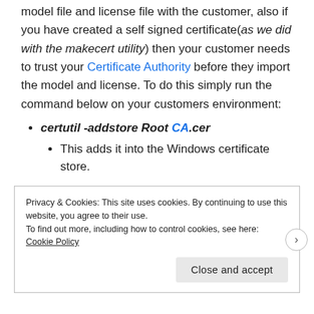model file and license file with the customer, also if you have created a self signed certificate(as we did with the makecert utility) then your customer needs to trust your Certificate Authority before they import the model and license. To do this simply run the command below on your customers environment:
certutil -addstore Root CA.cer
This adds it into the Windows certificate store.
Privacy & Cookies: This site uses cookies. By continuing to use this website, you agree to their use.
To find out more, including how to control cookies, see here: Cookie Policy